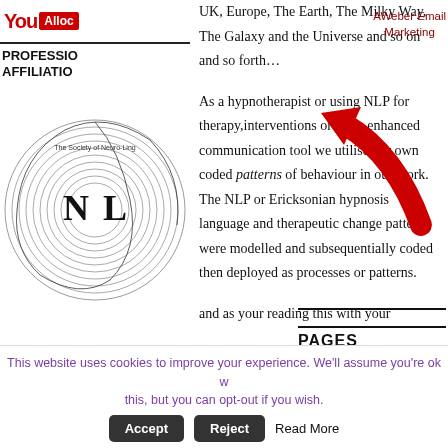[Figure (logo): YouTube-style logo (partially cropped) with 'You' in red and a red box]
PROFESSIONAL AFFILIATION
[Figure (illustration): Circular logo of The Society of Neuro-Linguistic Programming with 'NLP' letters in center]
UK, Europe, The Earth, The Milky Way, The Galaxy and the Universe and so on and so forth…
As a hypnotherapist or using NLP for therapy,interventions or as an enhanced communication tool we utilise our own coded patterns of behaviour in our work. The NLP or Ericksonian hypnosis language and therapeutic change patterns were modelled and subsequentially coded then deployed as processes or patterns.
and as your reading this with your
[Figure (logo): Red curved arrow pointing upward-left]
[Figure (logo): General Hyp logo with large blue 'G|' letters]
General Hyp
Acknowle
AWeber Email Marketing
PAGES
About
Choosing Your NLP Training Provider
Contact
This website uses cookies to improve your experience. We'll assume you're ok w this, but you can opt-out if you wish.